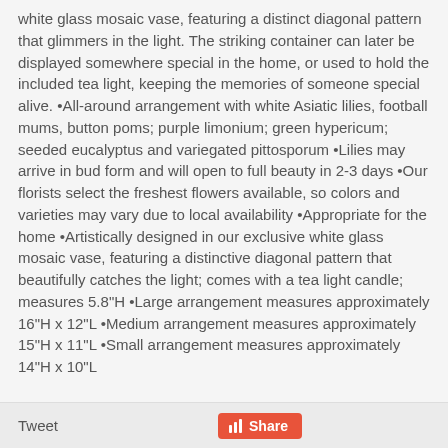white glass mosaic vase, featuring a distinct diagonal pattern that glimmers in the light. The striking container can later be displayed somewhere special in the home, or used to hold the included tea light, keeping the memories of someone special alive. •All-around arrangement with white Asiatic lilies, football mums, button poms; purple limonium; green hypericum; seeded eucalyptus and variegated pittosporum •Lilies may arrive in bud form and will open to full beauty in 2-3 days •Our florists select the freshest flowers available, so colors and varieties may vary due to local availability •Appropriate for the home •Artistically designed in our exclusive white glass mosaic vase, featuring a distinctive diagonal pattern that beautifully catches the light; comes with a tea light candle; measures 5.8"H •Large arrangement measures approximately 16"H x 12"L •Medium arrangement measures approximately 15"H x 11"L •Small arrangement measures approximately 14"H x 10"L
Tweet   Share